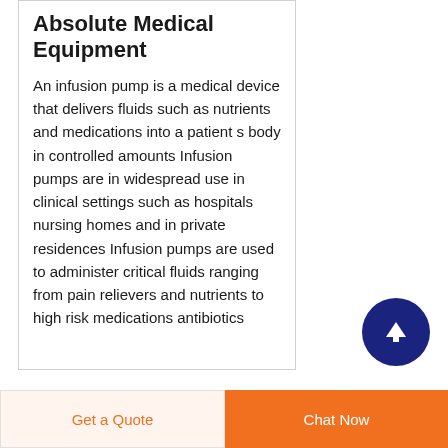Absolute Medical Equipment
An infusion pump is a medical device that delivers fluids such as nutrients and medications into a patient s body in controlled amounts Infusion pumps are in widespread use in clinical settings such as hospitals nursing homes and in private residences Infusion pumps are used to administer critical fluids ranging from pain relievers and nutrients to high risk medications antibiotics
[Figure (other): Dark navy blue circular button with white upward arrow icon (scroll to top button)]
Get a Quote
Chat Now